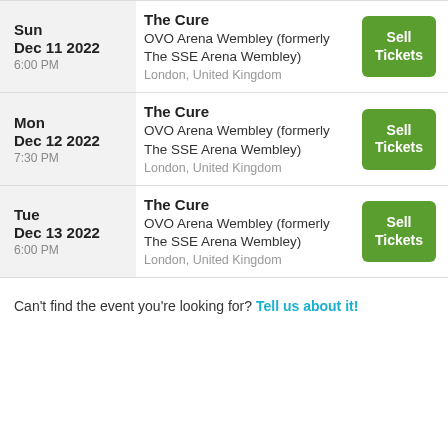Sun Dec 11 2022 6:00 PM | The Cure | OVO Arena Wembley (formerly The SSE Arena Wembley) | London, United Kingdom | Sell Tickets
Mon Dec 12 2022 7:30 PM | The Cure | OVO Arena Wembley (formerly The SSE Arena Wembley) | London, United Kingdom | Sell Tickets
Tue Dec 13 2022 6:00 PM | The Cure | OVO Arena Wembley (formerly The SSE Arena Wembley) | London, United Kingdom | Sell Tickets
Can't find the event you're looking for? Tell us about it!